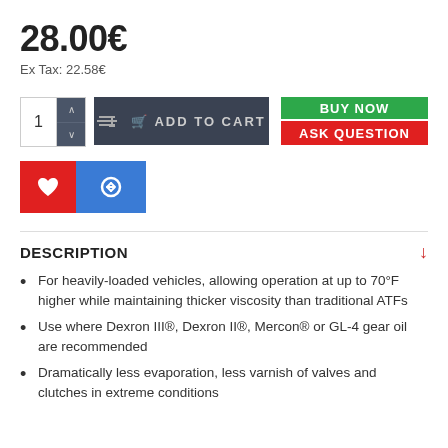28.00€
Ex Tax: 22.58€
[Figure (screenshot): E-commerce product page UI with add to cart controls, quantity selector, BUY NOW and ASK QUESTION buttons, wishlist and compare icons]
DESCRIPTION
For heavily-loaded vehicles, allowing operation at up to 70°F higher while maintaining thicker viscosity than traditional ATFs
Use where Dexron III®, Dexron II®, Mercon® or GL-4 gear oil are recommended
Dramatically less evaporation, less varnish of valves and clutches in extreme conditions